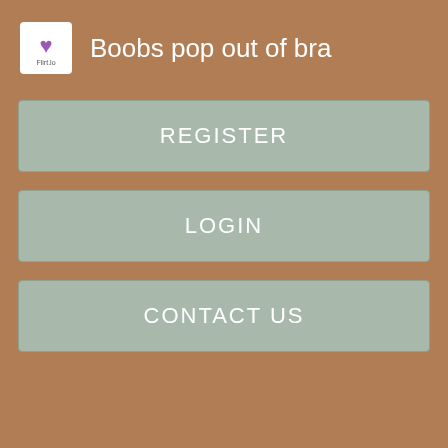Boobs pop out of bra
REGISTER
LOGIN
CONTACT US
I prefer:    I like man
What is my body type:    My figure features is quite slender
What I like to drink:    Champagne
Views: 837
Like   Share   Sign Up to see what your friends like.